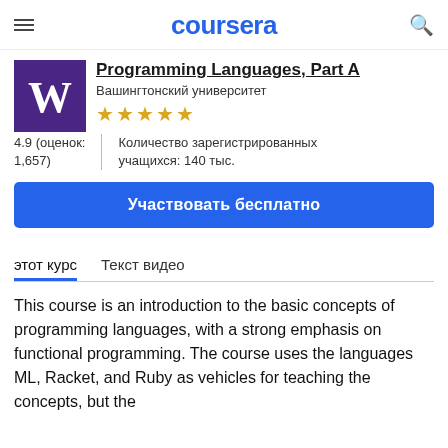coursera
Programming Languages, Part A
Вашингтонский университет
4.9 (оценок: 1,657)
Количество зарегистрированных учащихся: 140 тыс.
Участвовать бесплатно
этот курс
Текст видео
This course is an introduction to the basic concepts of programming languages, with a strong emphasis on functional programming. The course uses the languages ML, Racket, and Ruby as vehicles for teaching the concepts, but the